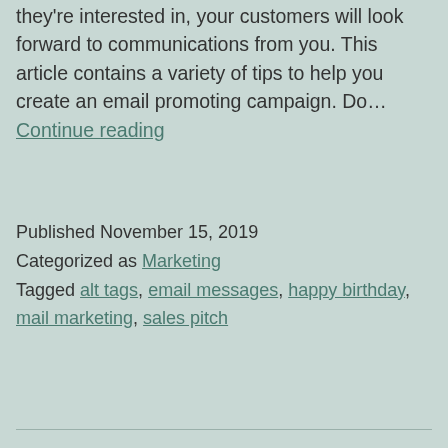they're interested in, your customers will look forward to communications from you. This article contains a variety of tips to help you create an email promoting campaign. Do… Continue reading
Published November 15, 2019
Categorized as Marketing
Tagged alt tags, email messages, happy birthday, mail marketing, sales pitch